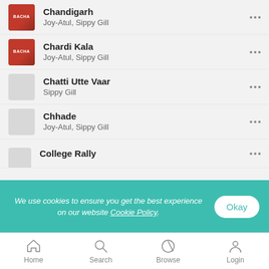Chandigarh — Joy-Atul, Sippy Gill
Chardi Kala — Joy-Atul, Sippy Gill
Chatti Utte Vaar — Sippy Gill
Chhade — Joy-Atul, Sippy Gill
College Rally
We use cookies to ensure you get the best experience on our website Cookie Policy.
Home  Search  Browse  Login